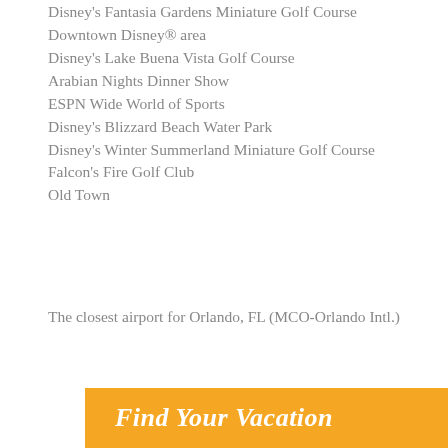Disney's Fantasia Gardens Miniature Golf Course
Downtown Disney® area
Disney's Lake Buena Vista Golf Course
Arabian Nights Dinner Show
ESPN Wide World of Sports
Disney's Blizzard Beach Water Park
Disney's Winter Summerland Miniature Golf Course
Falcon's Fire Golf Club
Old Town
The closest airport for Orlando, FL (MCO-Orlando Intl.)
[Figure (other): Orange banner with italic white text 'Find Your Vacation']